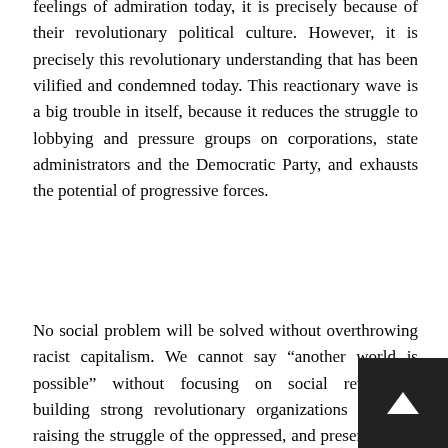feelings of admiration today, it is precisely because of their revolutionary political culture. However, it is precisely this revolutionary understanding that has been vilified and condemned today. This reactionary wave is a big trouble in itself, because it reduces the struggle to lobbying and pressure groups on corporations, state administrators and the Democratic Party, and exhausts the potential of progressive forces.
No social problem will be solved without overthrowing racist capitalism. We cannot say “another world is possible” without focusing on social revolution, building strong revolutionary organizations for this, raising the struggle of the oppressed, and preserving the class perspective in the meantime. The Black Panthers also had great handicaps, which are beyond the scope of this article, but we must point out that without the qualities we have mentioned, great social transformations are